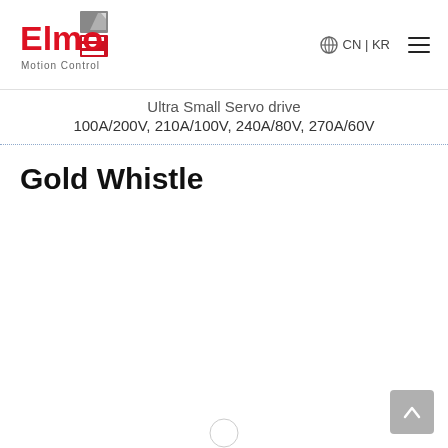[Figure (logo): Elmo Motion Control logo with red E and grey square accent]
CN | KR
Ultra Small Servo drive
100A/200V, 210A/100V, 240A/80V, 270A/60V
Gold Whistle
[Figure (other): Scroll-to-top arrow button, grey rounded square]